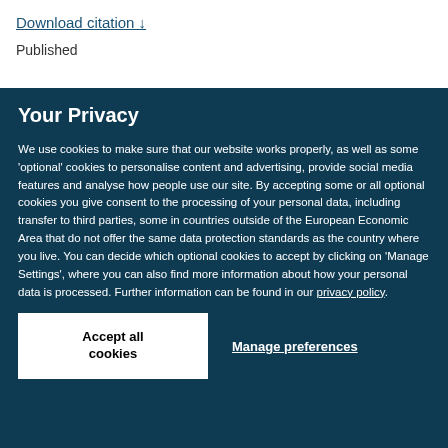Download citation ↓
Published
Your Privacy
We use cookies to make sure that our website works properly, as well as some 'optional' cookies to personalise content and advertising, provide social media features and analyse how people use our site. By accepting some or all optional cookies you give consent to the processing of your personal data, including transfer to third parties, some in countries outside of the European Economic Area that do not offer the same data protection standards as the country where you live. You can decide which optional cookies to accept by clicking on 'Manage Settings', where you can also find more information about how your personal data is processed. Further information can be found in our privacy policy.
Accept all cookies
Manage preferences